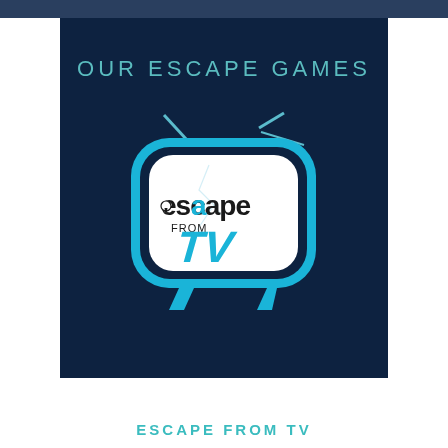OUR ESCAPE GAMES
[Figure (logo): Escape From TV logo — a retro blue television set with antenna, white screen showing the text 'escape FROM TV' in stylized lettering with a keyhole in the 'e' and lightning crack effect]
ESCAPE FROM TV